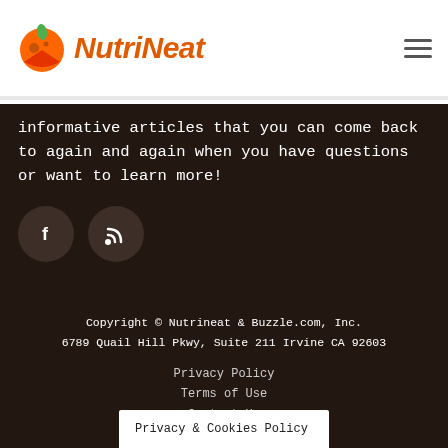NutriNeat
informative articles that you can come back to again and again when you have questions or want to learn more!
[Figure (illustration): Two circular dark social media icon buttons: Facebook (f) and RSS feed icons]
Copyright © Nutrineat & Buzzle.com, Inc.
6789 Quail Hill Pkwy, Suite 211 Irvine CA 92603
Privacy Policy
Terms of Use
Contact Us
Privacy & Cookies Policy